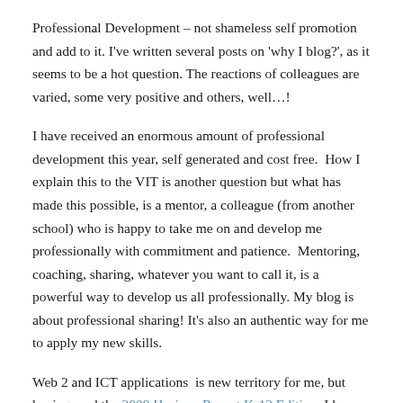Professional Development – not shameless self promotion and add to it. I've written several posts on 'why I blog?', as it seems to be a hot question. The reactions of colleagues are varied, some very positive and others, well…!
I have received an enormous amount of professional development this year, self generated and cost free.  How I explain this to the VIT is another question but what has made this possible, is a mentor, a colleague (from another school) who is happy to take me on and develop me professionally with commitment and patience.  Mentoring, coaching, sharing, whatever you want to call it, is a powerful way to develop us all professionally. My blog is about professional sharing! It's also an authentic way for me to apply my new skills.
Web 2 and ICT applications  is new territory for me, but having read the 2009 Horizon Report K-12 Edition, I know that I'm equipping myself for classroom teaching changes during the next five years.